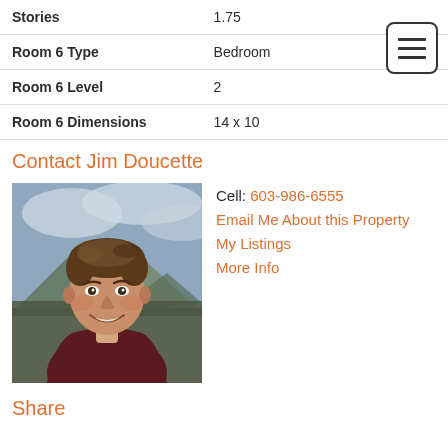| Property | Value |
| --- | --- |
| Stories | 1.75 |
| Room 6 Type | Bedroom |
| Room 6 Level | 2 |
| Room 6 Dimensions | 14 x 10 |
Contact Jim Doucette
Cell: 603-986-6555
Email Me About this Property
My Listings
More Info
[Figure (photo): Headshot of real estate agent Jim Doucette, a middle-aged man with brown hair, smiling, wearing a dark maroon sweater with a white collar, with mountains and cloudy sky in the background.]
Share